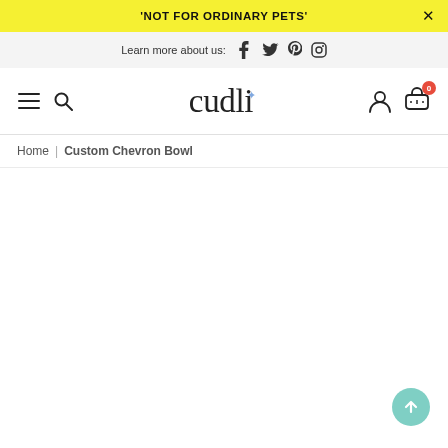'NOT FOR ORDINARY PETS'
Learn more about us: [Facebook] [Twitter] [Pinterest] [Instagram]
cudli [menu] [search] [account] [cart: 0]
Home | Custom Chevron Bowl